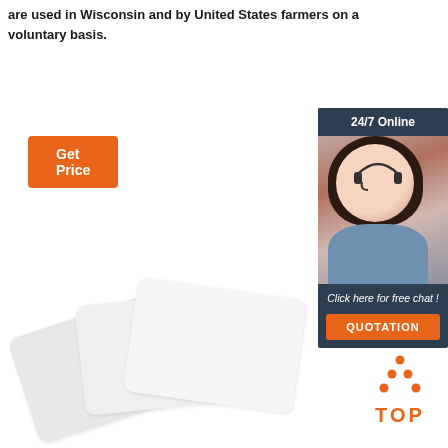are used in Wisconsin and by United States farmers on a voluntary basis.
[Figure (other): Orange 'Get Price' button]
[Figure (other): 24/7 Online chat widget with photo of woman wearing headset, 'Click here for free chat!' text, and orange QUOTATION button]
[Figure (other): Fanned out white/light grey cards]
[Figure (logo): Orange TOP badge with triangle and dots above the text TOP]